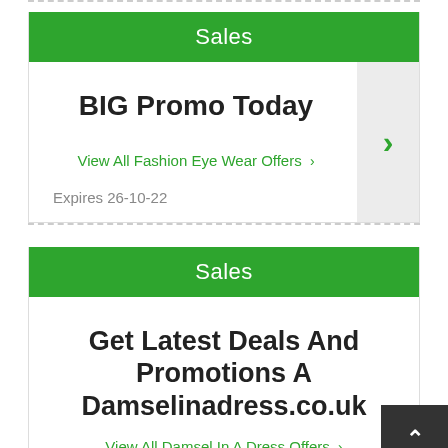Sales
BIG Promo Today
View All Fashion Eye Wear Offers >
Expires 26-10-22
Sales
Get Latest Deals And Promotions At Damselinadress.co.uk
View All Damsel In A Dress Offers >